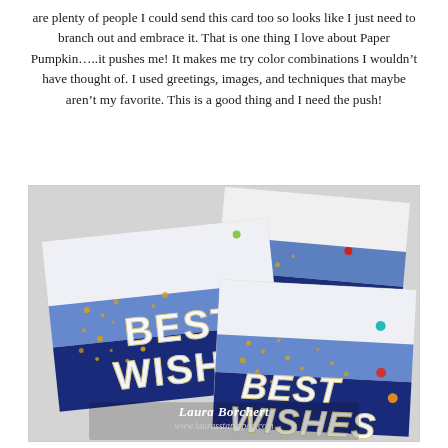are plenty of people I could send this card too so looks like I just need to branch out and embrace it. That is one thing I love about Paper Pumpkin…..it pushes me! It makes me try color combinations I wouldn't have thought of. I used greetings, images, and techniques that maybe aren't my favorite. This is a good thing and I need the push!
[Figure (photo): Two blue gradient 'Best Wishes' cards with gold confetti dots and colorful accent dots, displayed overlapping at angles on a light gray background. Watermark text: Laura Borchert, www.laurasstamppad.com, Images © Stampin' Up!]